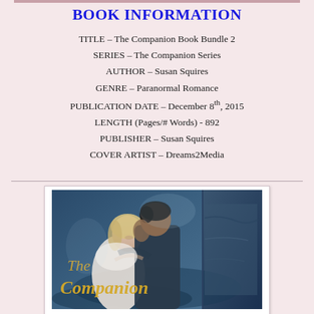BOOK INFORMATION
TITLE – The Companion Book Bundle 2
SERIES – The Companion Series
AUTHOR – Susan Squires
GENRE – Paranormal Romance
PUBLICATION DATE – December 8th, 2015
LENGTH (Pages/# Words) - 892
PUBLISHER – Susan Squires
COVER ARTIST – Dreams2Media
[Figure (illustration): Book cover for 'The Companion' showing a romantic embrace between a woman and a man against a blue-toned background, with decorative gold script text reading 'The Companion']